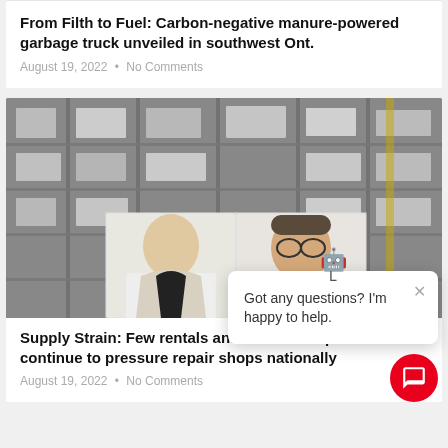From Filth to Fuel: Carbon-negative manure-powered garbage truck unveiled in southwest Ont.
August 19, 2022  •  No Comments
[Figure (photo): Warehouse shelving with parts/boxes; two portrait photos overlaid (woman in blazer, man with glasses)]
Supply Strain: Few rentals and even fewer parts continue to pressure repair shops nationally
August 19, 2022  •  No Comments
[Figure (screenshot): Chatbot popup: robot emoji icon, X close button, text 'Got any questions? I'm happy to help.' Red circular FAB button at bottom right.]